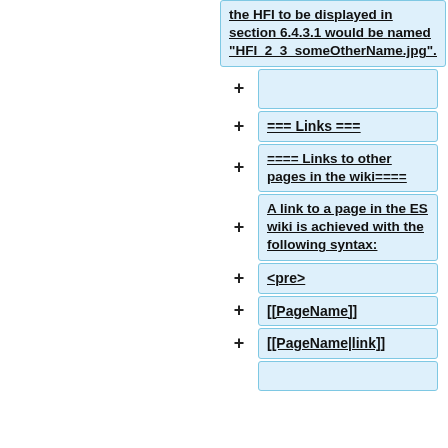the HFI to be displayed in section 6.4.3.1 would be named "HFI_2_3_someOtherName.jpg".
=== Links ===
==== Links to other pages in the wiki====
A link to a page in the ES wiki is achieved with the following syntax:
<pre>
[[PageName]]
[[PageName|link]]